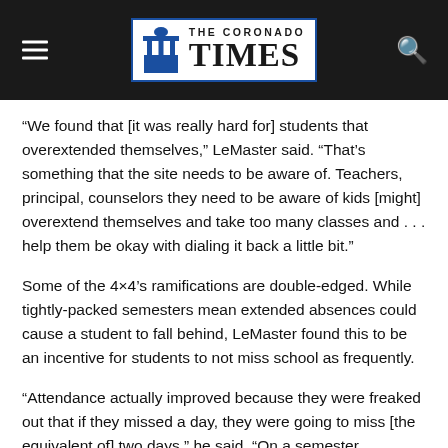THE CORONADO TIMES
“We found that [it was really hard for] students that overextended themselves,” LeMaster said. “That’s something that the site needs to be aware of. Teachers, principal, counselors they need to be aware of kids [might] overextend themselves and take too many classes and . . . help them be okay with dialing it back a little bit.”
Some of the 4×4’s ramifications are double-edged. While tightly-packed semesters mean extended absences could cause a student to fall behind, LeMaster found this to be an incentive for students to not miss school as frequently.
“Attendance actually improved because they were freaked out that if they missed a day, they were going to miss [the equivalent of] two days,” he said. “On a semester schedule,